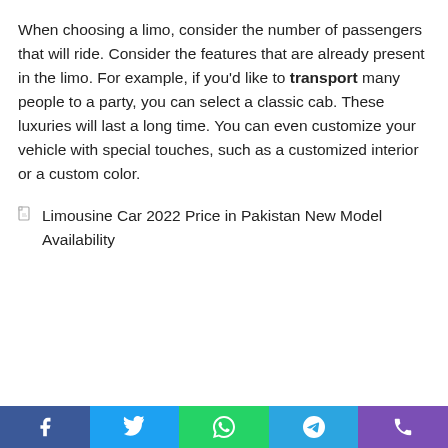When choosing a limo, consider the number of passengers that will ride. Consider the features that are already present in the limo. For example, if you'd like to transport many people to a party, you can select a classic cab. These luxuries will last a long time. You can even customize your vehicle with special touches, such as a customized interior or a custom color.
[Figure (photo): Broken image placeholder with alt text: Limousine Car 2022 Price in Pakistan New Model Availability]
Social share buttons: Facebook, Twitter, WhatsApp, Telegram, Phone